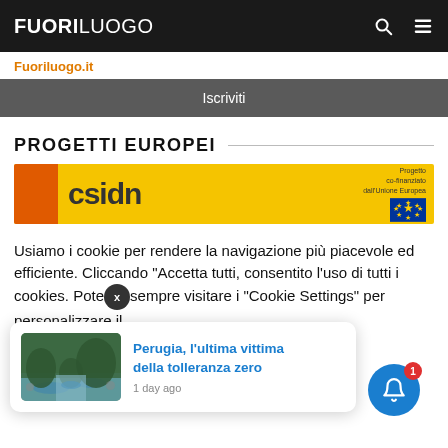FUORILUOGO
Fuoriluogo.it
Iscriviti
PROGETTI EUROPEI
[Figure (logo): csidn project logo with orange square, yellow background, and EU flag with text 'Progetto co-finanziato dall'Unione Europea']
Usiamo i cookie per rendere la navigazione più piacevole ed efficiente. Cliccando "Accetta tutti, consentito l'uso di tutti i cookies. Potete sempre visitare i "Cookie Settings" per personalizzare il
[Figure (photo): Small thumbnail photo of a river stream with rocks and trees]
Perugia, l'ultima vittima della tolleranza zero
1 day ago